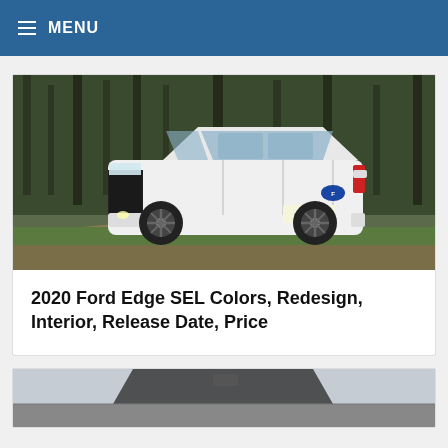MENU
[Figure (photo): White Ford Edge SUV parked on a dirt/gravel road with trees in the background]
2020 Ford Edge SEL Colors, Redesign, Interior, Release Date, Price
[Figure (photo): Partial view of another vehicle, dark colored, shown at bottom of page]